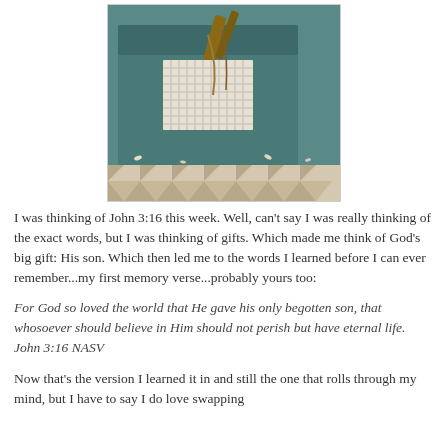[Figure (photo): A teal/turquoise gift box with a woven lattice tag and twine bow, photographed from above on a decorative patterned surface.]
I was thinking of John 3:16 this week. Well, can't say I was really thinking of the exact words, but I was thinking of gifts. Which made me think of God's big gift: His son. Which then led me to the words I learned before I can ever remember...my first memory verse...probably yours too:
For God so loved the world that He gave his only begotten son, that whosoever should believe in Him should not perish but have eternal life. John 3:16 NASV
Now that's the version I learned it in and still the one that rolls through my mind, but I have to say I do love swapping